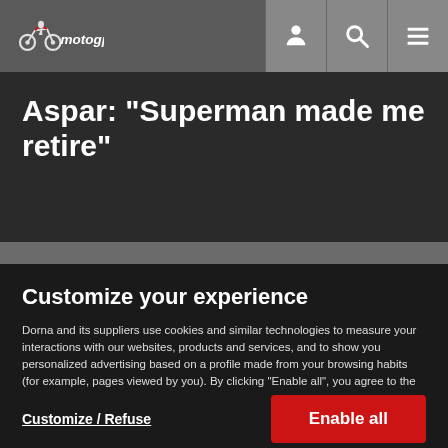[Figure (logo): MotoGP logo with stylized motorcycle and 'motogp' text]
Aspar: "Superman made me retire"
Customize your experience
Dorna and its suppliers use cookies and similar technologies to measure your interactions with our websites, products and services, and to show you personalized advertising based on a profile made from your browsing habits (for example, pages viewed by you). By clicking “Enable all”, you agree to the storing of our cookies on your device for those purposes. By clicking “Customize” you can choose which categories of cookies you prefer to enable or refuse, and you can also choose to refuse them all. You can always check our Cookies Policy for further information. Cookie Policy
Customize / Refuse
Enable all